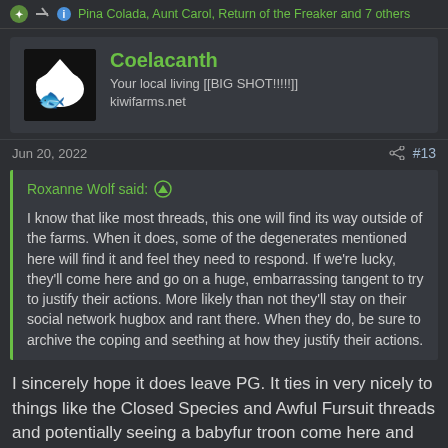Pina Colada, Aunt Carol, Return of the Freaker and 7 others
Coelacanth
Your local living [[BIG SHOT!!!!!]]
kiwifarms.net
Jun 20, 2022  #13
Roxanne Wolf said: ↑
I know that like most threads, this one will find its way outside of the farms. When it does, some of the degenerates mentioned here will find it and feel they need to respond. If we're lucky, they'll come here and go on a huge, embarrassing tangent to try to justify their actions. More likely than not they'll stay on their social network hugbox and rant there. When they do, be sure to archive the coping and seething at how they justify their actions.
I sincerely hope it does leave PG. It ties in very nicely to things like the Closed Species and Awful Fursuit threads and potentially seeing a babyfur troon come here and throw a literal tantrum trying to justify spending thousands on diapers alone would be